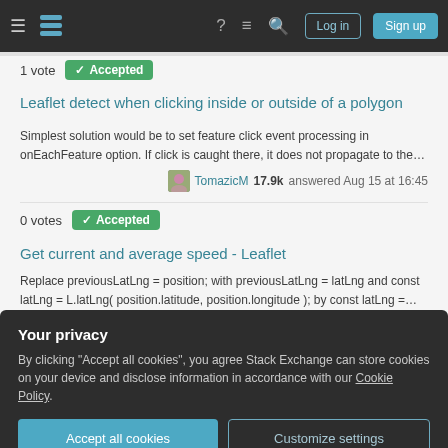Stack Exchange navigation bar with Log in and Sign up buttons
1 vote  Accepted
Leaflet detect when clicking inside or outside of a polygon
Simplest solution would be to set feature click event processing in onEachFeature option. If click is caught there, it does not propagate to the...
TomazicM 17.9k answered Aug 15 at 16:45
0 votes  Accepted
Get current and average speed - Leaflet
Replace previousLatLng = position; with previousLatLng = latLng and const latLng = L.latLng( position.latitude, position.longitude ); by const latLng =...
Your privacy
By clicking "Accept all cookies", you agree Stack Exchange can store cookies on your device and disclose information in accordance with our Cookie Policy.
Accept all cookies
Customize settings
– L.Routing.control({ router: osrRouter, position: 'topleft', profile: routingprofil...